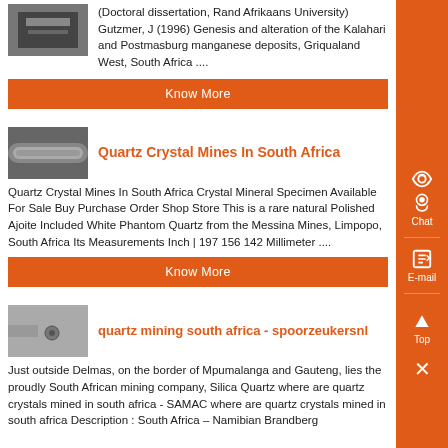[Figure (photo): Partial image at top of page, dark machinery/metal]
(Doctoral dissertation, Rand Afrikaans University) Gutzmer, J (1996) Genesis and alteration of the Kalahari and Postmasburg manganese deposits, Griqualand West, South Africa ....
Know More
[Figure (photo): Image of cylindrical metal/machinery component]
Quartz Crystal Mines In South Africa
Quartz Crystal Mines In South Africa Crystal Mineral Specimen Available For Sale Buy Purchase Order Shop Store This is a rare natural Polished Ajoite Included White Phantom Quartz from the Messina Mines, Limpopo, South Africa Its Measurements Inch | 197 156 142 Millimeter ....
Know More
[Figure (photo): Image of metal/machinery with small knob]
quartz mining south africa - spoorzeukersnl
Just outside Delmas, on the border of Mpumalanga and Gauteng, lies the proudly South African mining company, Silica Quartz where are quartz crystals mined in south africa - SAMAC where are quartz crystals mined in south africa Description : South Africa – Namibian Brandberg